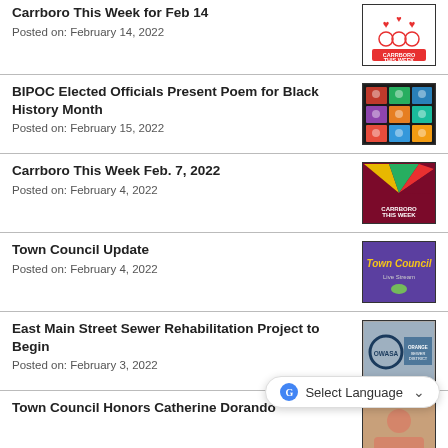Carrboro This Week for Feb 14
Posted on: February 14, 2022
BIPOC Elected Officials Present Poem for Black History Month
Posted on: February 15, 2022
Carrboro This Week Feb. 7, 2022
Posted on: February 4, 2022
Town Council Update
Posted on: February 4, 2022
East Main Street Sewer Rehabilitation Project to Begin
Posted on: February 3, 2022
Town Council Honors Catherine Dorando
Select Language